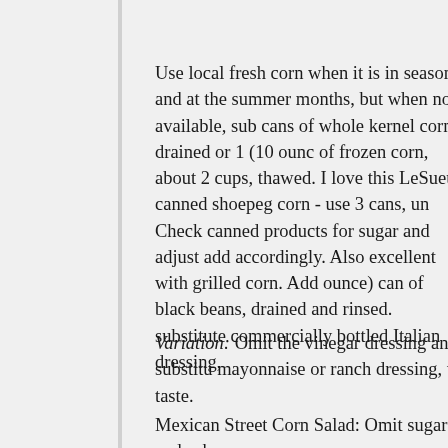Use local fresh corn when it is in season and at the summer months, but when not available, sub cans of whole kernel corn, drained or 1 (10 ounc of frozen corn, about 2 cups, thawed. I love this LeSueur canned shoepeg corn - use 3 cans, un Check canned products for sugar and adjust add accordingly. Also excellent with grilled corn. Add ounce) can of black beans, drained and rinsed. substitute commercially bottled Italian dressing,
Variation: Omit the vinegar dressing and substitu mayonnaise or ranch dressing, to taste.
Mexican Street Corn Salad: Omit sugar and sub